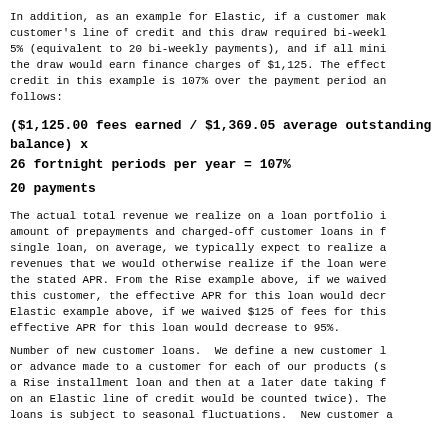In addition, as an example for Elastic, if a customer mak customer's line of credit and this draw required bi-weekl 5% (equivalent to 20 bi-weekly payments), and if all mini the draw would earn finance charges of $1,125. The effect credit in this example is 107% over the payment period an follows:
20 payments
The actual total revenue we realize on a loan portfolio i amount of prepayments and charged-off customer loans in f single loan, on average, we typically expect to realize a revenues that we would otherwise realize if the loan were the stated APR. From the Rise example above, if we waived this customer, the effective APR for this loan would decr Elastic example above, if we waived $125 of fees for this effective APR for this loan would decrease to 95%.
Number of new customer loans. We define a new customer l or advance made to a customer for each of our products (s a Rise installment loan and then at a later date taking f on an Elastic line of credit would be counted twice). The loans is subject to seasonal fluctuations. New customer a